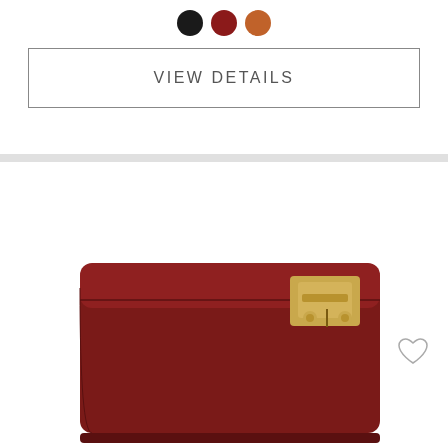[Figure (illustration): Three color swatches: black circle, dark red circle, terracotta/brown circle]
VIEW DETAILS
[Figure (photo): Red/burgundy leather jewelry box with gold clasp hardware, shown at an angle against white background]
Need Help ?
WhatsApp